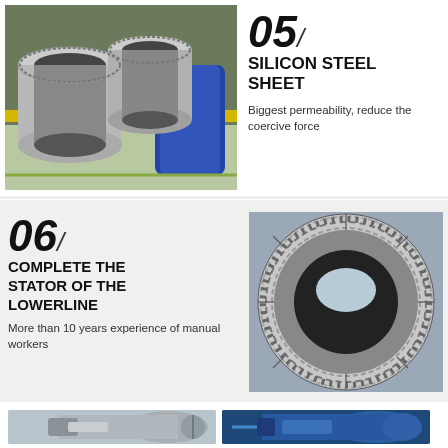[Figure (photo): Silicon steel laminations/stator core cylinders stacked in a factory setting]
05 SILICON STEEL SHEET
Biggest permeability, reduce the coercive force
[Figure (photo): Close-up of a stator ring showing radial slots/teeth viewed from the end]
06 COMPLETE THE STATOR OF THE LOWERLINE
More than 10 years experience of manual workers
[Figure (photo): Gray industrial electric motor]
[Figure (photo): Blue industrial electric motor]
[Figure (photo): Blue industrial electric motor (smaller)]
[Figure (photo): Teal/green industrial electric motor]